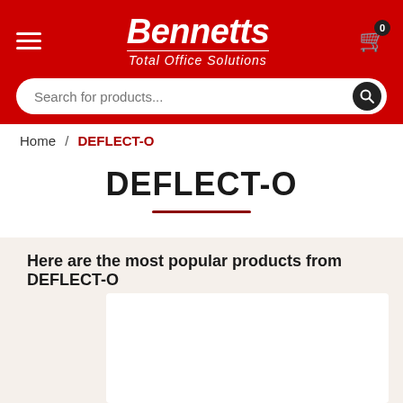Bennetts Total Office Solutions
Search for products...
Home / DEFLECT-O
DEFLECT-O
Here are the most popular products from DEFLECT-O